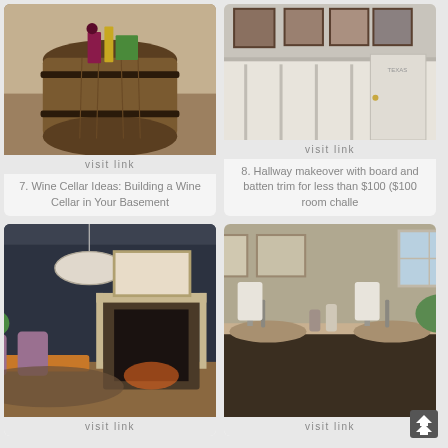[Figure (photo): Wine barrel with a wine bottle and book on top, in a cellar setting]
visit link
7. Wine Cellar Ideas: Building a Wine Cellar in Your Basement
[Figure (photo): Hallway with white board and batten trim on walls and framed photos above]
visit link
8. Hallway makeover with board and batten trim for less than $100 ($100 room challe
[Figure (photo): Dining room with dark walls, fireplace, pendant light, and dining table with chairs]
visit link
[Figure (photo): Bathroom vanity with granite countertop, two sinks, towels, and plants]
visit link